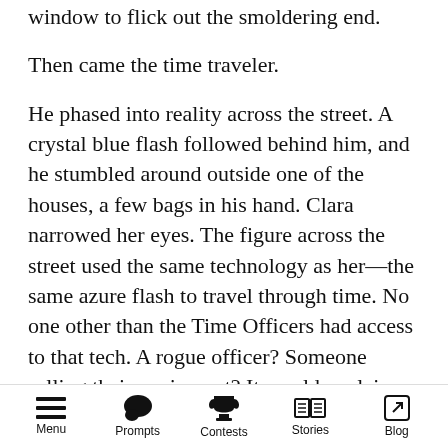window to flick out the smoldering end.
Then came the time traveler.
He phased into reality across the street. A crystal blue flash followed behind him, and he stumbled around outside one of the houses, a few bags in his hand. Clara narrowed her eyes. The figure across the street used the same technology as her—the same azure flash to travel through time. No one other than the Time Officers had access to that tech. A rogue officer? Someone selling their equipment? It would explain the redacted case file.
She popped open the car door and her boots crunched against the snow. She spun the
Menu   Prompts   Contests   Stories   Blog